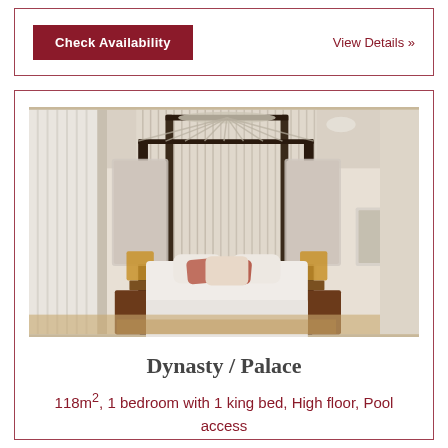Check Availability
View Details »
[Figure (photo): Luxury hotel suite with a four-poster canopy bed, white sheer draping, decorative pillows, two bedside lamps, mirrored panels, and a patterned carpet. Sheer curtains cover large windows on the left side.]
Dynasty / Palace
118m², 1 bedroom with 1 king bed, High floor, Pool access